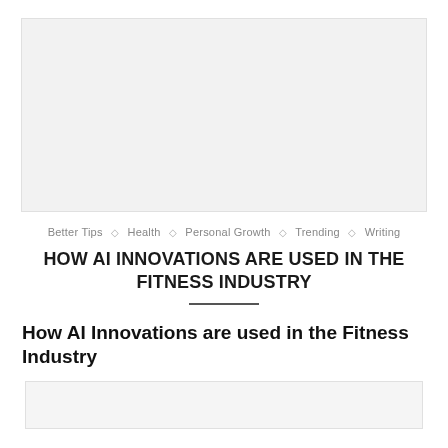[Figure (other): Large light gray placeholder image box at the top of the page]
Better Tips ◇ Health ◇ Personal Growth ◇ Trending ◇ Writing
HOW AI INNOVATIONS ARE USED IN THE FITNESS INDUSTRY
How AI Innovations are used in the Fitness Industry
[Figure (other): Small light gray placeholder image box at the bottom of the page]